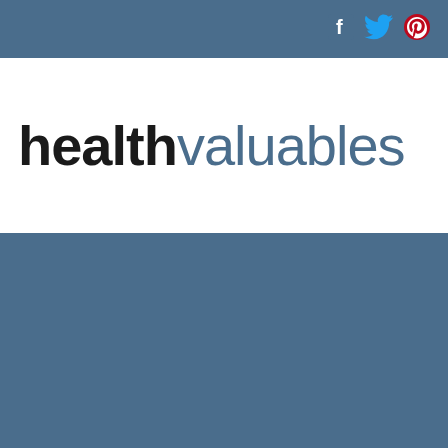healthvaluables — social media icons (Facebook, Twitter, Pinterest) in header bar
healthvaluables
[Figure (other): Blue background bottom section of page]